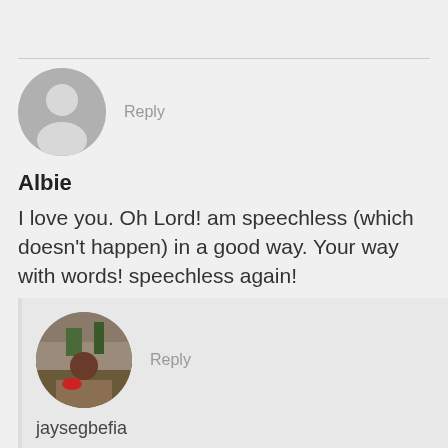[Figure (other): Default grey avatar circle with silhouette icon]
Reply
Albie
I love you. Oh Lord! am speechless (which doesn't happen) in a good way. Your way with words! speechless again!
August 9, 2016 at 5:12 pm
[Figure (photo): Circular profile photo of jaysegbefia showing a person on a rocky/hilly landscape with trees]
Reply
jaysegbefia